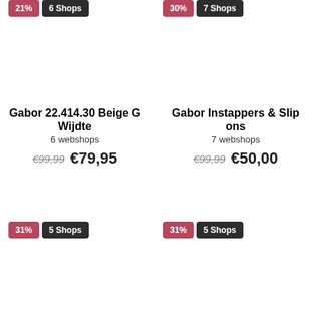21%
6 Shops
30%
7 Shops
Gabor 22.414.30 Beige G Wijdte
6 webshops
€99,99  €79,95
Gabor Instappers & Slip ons
7 webshops
€99,99  €50,00
31%
5 Shops
31%
5 Shops